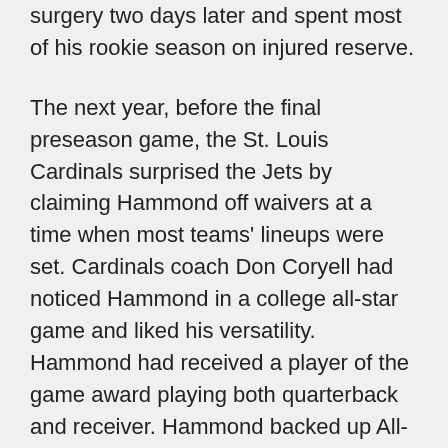surgery two days later and spent most of his rookie season on injured reserve.
The next year, before the final preseason game, the St. Louis Cardinals surprised the Jets by claiming Hammond off waivers at a time when most teams' lineups were set. Cardinals coach Don Coryell had noticed Hammond in a college all-star game and liked his versatility. Hammond had received a player of the game award playing both quarterback and receiver. Hammond backed up All-Pro receiver Mel Gray and also played defensive back and returned punts in four years with the Cards. Concussions and other injuries forced Hammond's retirement after the '76 season.
Hammond, some say, should have gone to Texas and been on a national